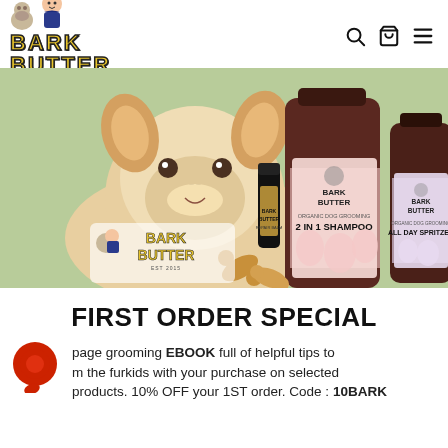Bark Butter Australian Made — navigation with search, cart, and menu icons
[Figure (photo): Promotional banner showing a Corgi dog with Bark Butter branded dog grooming products: 2 IN 1 Shampoo, All Day Spritzer, and Repair Balm, plus dog treats, on a light green background. Bark Butter logo overlaid at lower left.]
FIRST ORDER SPECIAL
page grooming EBOOK full of helpful tips to m the furkids with your purchase on selected products. 10% OFF your 1ST order. Code : 10BARK